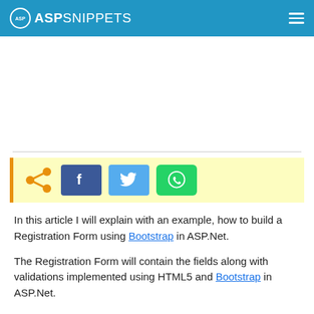ASP SNIPPETS
[Figure (screenshot): Advertisement/blank area below header]
[Figure (infographic): Social share bar with Facebook, Twitter, and WhatsApp buttons on yellow background with orange left border and share icon]
In this article I will explain with an example, how to build a Registration Form using Bootstrap in ASP.Net.
The Registration Form will contain the fields along with validations implemented using HTML5 and Bootstrap in ASP.Net.